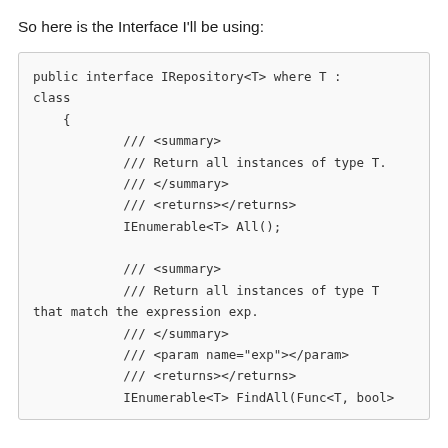So here is the Interface I'll be using:
public interface IRepository<T> where T : class
    {
            /// <summary>
            /// Return all instances of type T.
            /// </summary>
            /// <returns></returns>
            IEnumerable<T> All();

            /// <summary>
            /// Return all instances of type T that match the expression exp.
            /// </summary>
            /// <param name="exp"></param>
            /// <returns></returns>
            IEnumerable<T> FindAll(Func<T, bool>